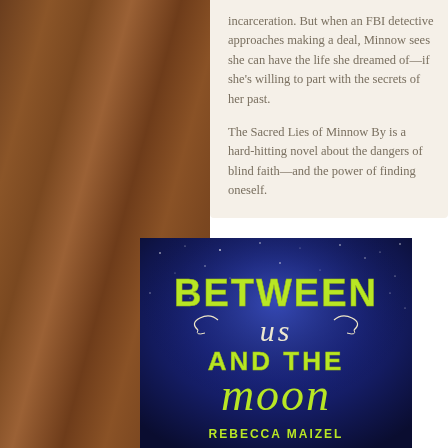incarceration. But when an FBI detective approaches making a deal, Minnow sees she can have the life she dreamed of—if she's willing to part with the secrets of her past.

The Sacred Lies of Minnow By is a hard-hitting novel about the dangers of blind faith—and the power of finding oneself.
[Figure (illustration): Book cover for 'Between Us and the Moon' by Rebecca Maizel. Dark blue starry night sky background with bright yellow-green hand-lettered title text. 'BETWEEN' in large block letters at top, 'us' in swirling script in the middle with decorative flourishes, 'AND THE' in block letters, 'moon' in large flowing script at bottom. Author name 'REBECCA MAIZEL' in yellow-green at the very bottom.]